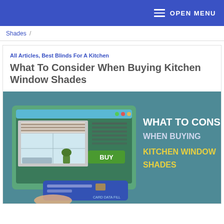OPEN MENU
Shades
All Articles, Best Blinds For A Kitchen
What To Consider When Buying Kitchen Window Shades
[Figure (infographic): Infographic showing a laptop/tablet with kitchen window shades on screen and a BUY button, with text: WHAT TO CONSIDER WHEN BUYING KITCHEN WINDOW SHADES]